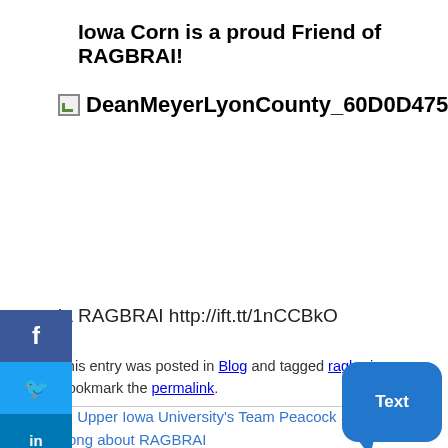Iowa Corn is a proud Friend of RAGBRAI!
[Figure (other): Broken image placeholder with filename DeanMeyerLyonCounty_60D0D475BB046]
ia RAGBRAI http://ift.tt/1nCCBkO
This entry was posted in Blog and tagged ragbrai. Bookmark the permalink.
← Upper Iowa University's Team Peacock Shares a Song about RAGBRAI
What Will Iowa Do With the PeopleForBikes $10,000 If We Get 10,000 Bicyclists to Sign